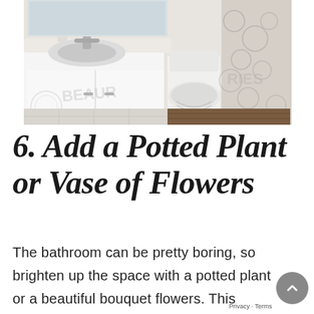[Figure (photo): A clean white bathroom showing a vanity with sink and faucet on the left, a toilet in the middle, and a decorative shower curtain on the right. A small plant sits on the vanity counter.]
6. Add a Potted Plant or Vase of Flowers
The bathroom can be pretty boring, so brighten up the space with a potted plant or a beautiful bouquet flowers. This finishing touch can